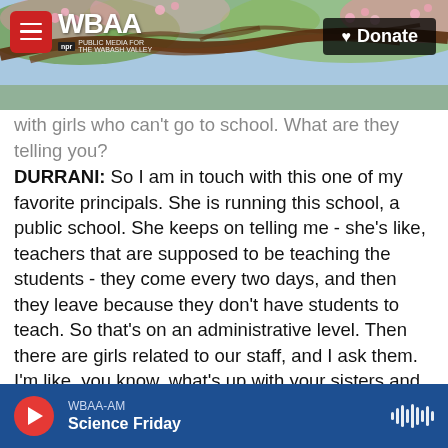[Figure (screenshot): WBAA radio website header with tree/nature background photo, WBAA logo with hamburger menu on left, and Donate button on right]
with girls who can't go to school. What are they telling you?
DURRANI: So I am in touch with this one of my favorite principals. She is running this school, a public school. She keeps on telling me - she's like, teachers that are supposed to be teaching the students - they come every two days, and then they leave because they don't have students to teach. So that's on an administrative level. Then there are girls related to our staff, and I ask them. I'm like, you know, what's up with your sisters and all that? And they tell me our sisters are not going to school. They are at home - although her brother is going to
[Figure (screenshot): WBAA-AM audio player bar at bottom showing Science Friday program with red play button and audio waveform icon]